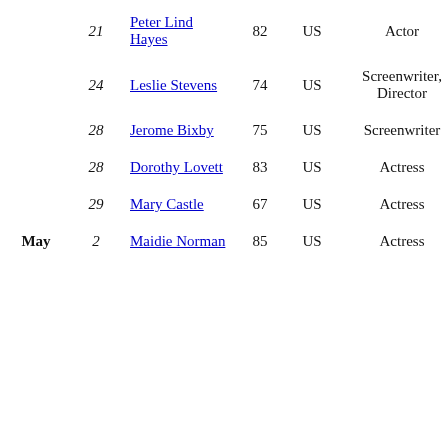| Month | Day | Name | Age | Country | Role |
| --- | --- | --- | --- | --- | --- |
|  | 21 | Peter Lind Hayes | 82 | US | Actor |
|  | 24 | Leslie Stevens | 74 | US | Screenwriter, Director |
|  | 28 | Jerome Bixby | 75 | US | Screenwriter |
|  | 28 | Dorothy Lovett | 83 | US | Actress |
|  | 29 | Mary Castle | 67 | US | Actress |
| May | 2 | Maidie Norman | 85 | US | Actress |